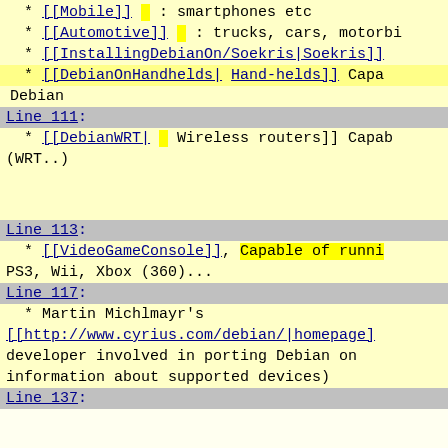* [[Mobile]] : smartphones etc
* [[Automotive]] : trucks, cars, motorbi
* [[InstallingDebianOn/Soekris|Soekris]]
* [[DebianOnHandhelds| Hand-helds]] Capa Debian
Line 111:
* [[DebianWRT| Wireless routers]] Capab (WRT..)
Line 113:
* [[VideoGameConsole]], Capable of runni PS3, Wii, Xbox (360)...
Line 117:
* Martin Michlmayr's [[http://www.cyrius.com/debian/|homepage] developer involved in porting Debian on information about supported devices)
Line 137: